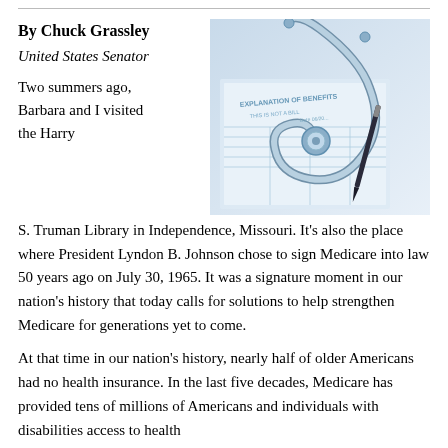By Chuck Grassley
United States Senator
[Figure (photo): Photo of a stethoscope resting on an Explanation of Benefits document with a pen, blue-toned image.]
Two summers ago, Barbara and I visited the Harry S. Truman Library in Independence, Missouri. It’s also the place where President Lyndon B. Johnson chose to sign Medicare into law 50 years ago on July 30, 1965.  It was a signature moment in our nation’s history that today calls for solutions to help strengthen Medicare for generations yet to come.
At that time in our nation’s history, nearly half of older Americans had no health insurance. In the last five decades, Medicare has provided tens of millions of Americans and individuals with disabilities access to health